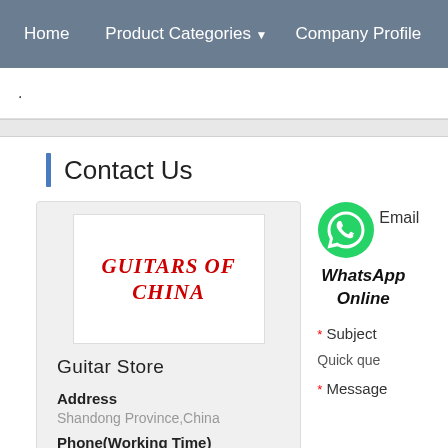Home   Product Categories ▼   Company Profile
.
Contact Us
[Figure (logo): Guitars of China logo — white box with red italic bold uppercase text 'GUITARS OF CHINA']
Guitar Store
Address
Shandong Province,China
Phone(Working Time)
[Figure (illustration): Green WhatsApp phone icon circle]
Email
WhatsApp Online
* Subject
Quick que
* Message